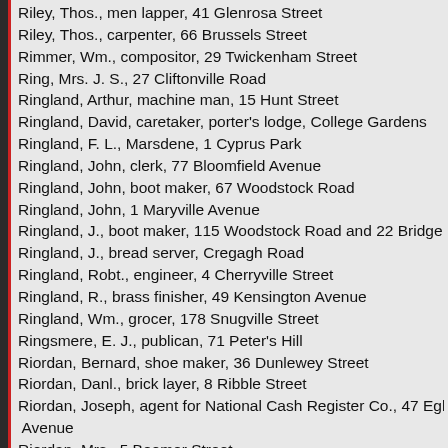Riley, Thos., men lapper, 41 Glenrosa Street
Riley, Thos., carpenter, 66 Brussels Street
Rimmer, Wm., compositor, 29 Twickenham Street
Ring, Mrs. J. S., 27 Cliftonville Road
Ringland, Arthur, machine man, 15 Hunt Street
Ringland, David, caretaker, porter's lodge, College Gardens
Ringland, F. L., Marsdene, 1 Cyprus Park
Ringland, John, clerk, 77 Bloomfield Avenue
Ringland, John, boot maker, 67 Woodstock Road
Ringland, John, 1 Maryville Avenue
Ringland, J., boot maker, 115 Woodstock Road and 22 Bridge End
Ringland, J., bread server, Cregagh Road
Ringland, Robt., engineer, 4 Cherryville Street
Ringland, R., brass finisher, 49 Kensington Avenue
Ringland, Wm., grocer, 178 Snugville Street
Ringsmere, E. J., publican, 71 Peter's Hill
Riordan, Bernard, shoe maker, 36 Dunlewey Street
Riordan, Danl., brick layer, 8 Ribble Street
Riordan, Joseph, agent for National Cash Register Co., 47 Eglantine Avenue
Riordan, Mrs., 5 Boomer Street
Ripard, W., storeman, 35 Frank Street Upper
Rippard, John, seal cutter, 158 Hillman Street
Risk, James, engineer, 76 Nevis Avenue
Risk, Jas., builder, Bel-Vale, Kingsmere Avenue
Risk, John, builder, 20 Wyndham Street